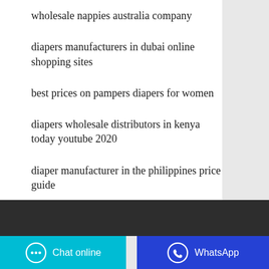wholesale nappies australia company
diapers manufacturers in dubai online shopping sites
best prices on pampers diapers for women
diapers wholesale distributors in kenya today youtube 2020
diaper manufacturer in the philippines price guide
Chat online | WhatsApp